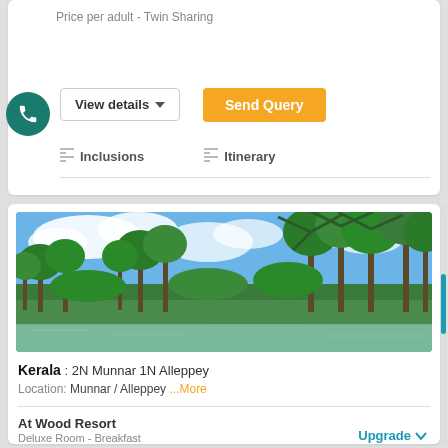Price per adult - Twin Sharing
View details ▼
Send Query
≡ Inclusions
≡ Itinerary
[Figure (photo): Kerala backwaters landscape with palm trees and a wide river under blue sky with clouds]
Kerala : 2N Munnar 1N Alleppey
Location: Munnar / Alleppey ...More
At Wood Resort
Deluxe Room - Breakfast
Upgrade ∨